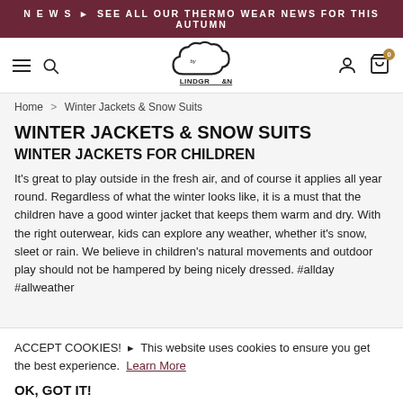N E W S ▸ SEE ALL OUR THERMO WEAR NEWS FOR THIS AUTUMN
[Figure (logo): By Lindgren cloud logo with hamburger menu, search icon, user icon, and cart icon with badge '0']
Home > Winter Jackets & Snow Suits
WINTER JACKETS & SNOW SUITS
WINTER JACKETS FOR CHILDREN
It's great to play outside in the fresh air, and of course it applies all year round. Regardless of what the winter looks like, it is a must that the children have a good winter jacket that keeps them warm and dry. With the right outerwear, kids can explore any weather, whether it's snow, sleet or rain. We believe in children's natural movements and outdoor play should not be hampered by being nicely dressed. #allday #allweather
ACCEPT COOKIES! ▸ This website uses cookies to ensure you get the best experience. Learn More
OK, GOT IT!